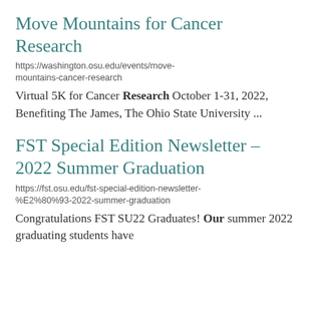Move Mountains for Cancer Research
https://washington.osu.edu/events/move-mountains-cancer-research
Virtual 5K for Cancer Research October 1-31, 2022, Benefiting The James, The Ohio State University ...
FST Special Edition Newsletter – 2022 Summer Graduation
https://fst.osu.edu/fst-special-edition-newsletter-%E2%80%93-2022-summer-graduation
Congratulations FST SU22 Graduates! Our summer 2022 graduating students have